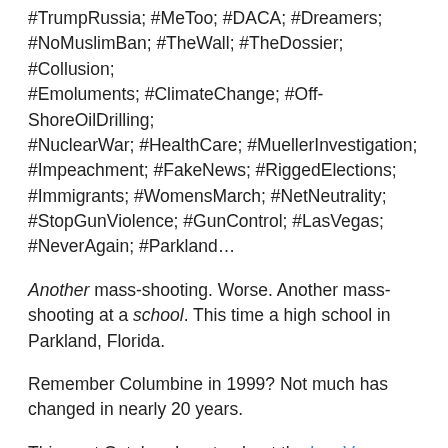#TrumpRussia; #MeToo; #DACA; #Dreamers; #NoMuslimBan; #TheWall; #TheDossier; #Collusion; #Emoluments; #ClimateChange; #Off-ShoreOilDrilling; #NuclearWar; #HealthCare; #MuellerInvestigation; #Impeachment; #FakeNews; #RiggedElections; #Immigrants; #WomensMarch; #NetNeutrality; #StopGunViolence; #GunControl; #LasVegas; #NeverAgain; #Parkland…
Another mass-shooting. Worse. Another mass-shooting at a school. This time a high school in Parkland, Florida.
Remember Columbine in 1999? Not much has changed in nearly 20 years.
This past October, I wrote about the Las Vegas mass-shooting at a concert my son and his wife attended. He felt bullets fly by. He covered his wife with his body. People